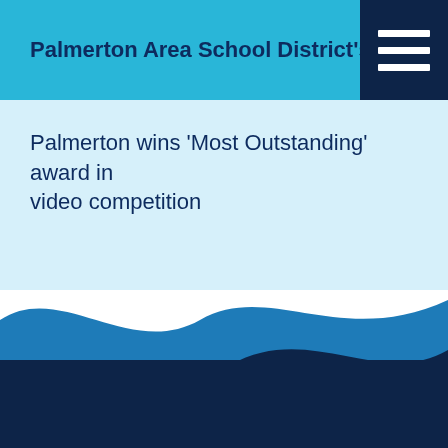Palmerton Area School District's SHINE Program
Palmerton wins ‘Most Outstanding’ award in video competition
[Figure (illustration): Decorative wave design with medium blue and dark navy blue layered waves at the bottom of the page]